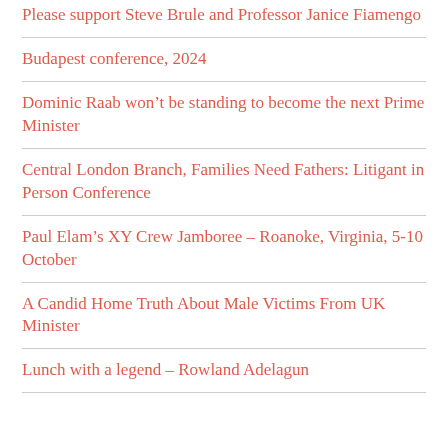Please support Steve Brule and Professor Janice Fiamengo
Budapest conference, 2024
Dominic Raab won't be standing to become the next Prime Minister
Central London Branch, Families Need Fathers: Litigant in Person Conference
Paul Elam's XY Crew Jamboree – Roanoke, Virginia, 5-10 October
A Candid Home Truth About Male Victims From UK Minister
Lunch with a legend – Rowland Adelagun